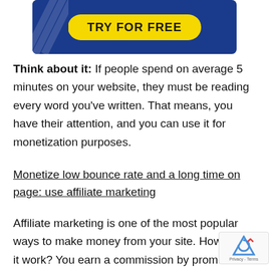[Figure (infographic): Blue banner with yellow 'TRY FOR FREE' button and diagonal stripe decoration on left side]
Think about it: If people spend on average 5 minutes on your website, they must be reading every word you’ve written. That means, you have their attention, and you can use it for monetization purposes.
Monetize low bounce rate and a long time on page: use affiliate marketing
Affiliate marketing is one of the most popular ways to make money from your site. How does it work? You earn a commission by promoti…